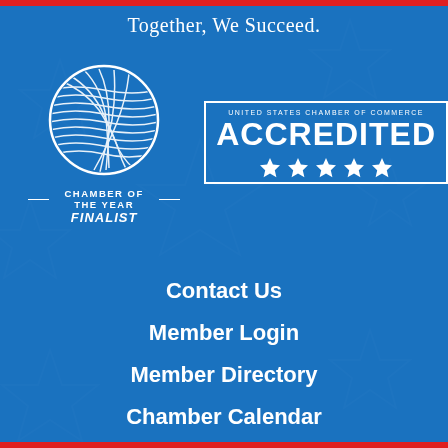[Figure (logo): Red horizontal bar at top of page]
Together, We Succeed.
[Figure (logo): Chamber of the Year Finalist logo: white circle globe with scribble lines, text CHAMBER OF THE YEAR FINALIST below]
[Figure (logo): United States Chamber of Commerce ACCREDITED badge with 5 stars]
Contact Us
Member Login
Member Directory
Chamber Calendar
[Figure (logo): Red horizontal bar at bottom of page]